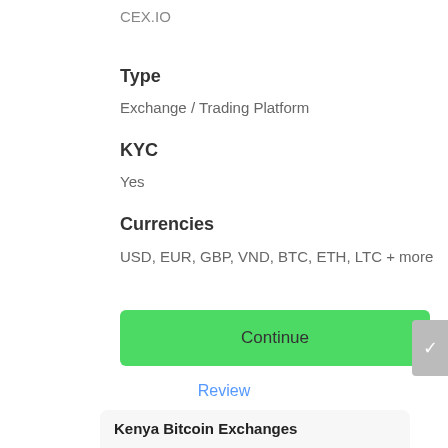CEX.IO
Type
Exchange / Trading Platform
KYC
Yes
Currencies
USD, EUR, GBP, VND, BTC, ETH, LTC + more
Continue
Review
Kenya Bitcoin Exchanges
[Figure (logo): REMITANO logo with purple R and black EMITANO text]